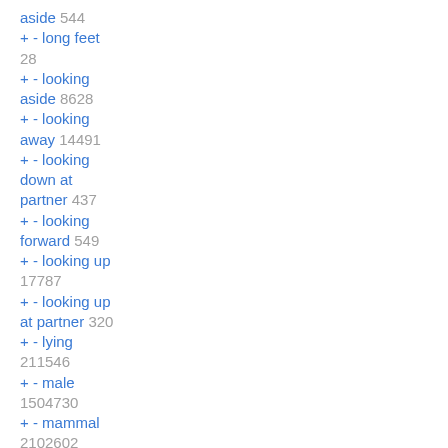+ - long feet aside 544
+ - looking aside 8628
+ - looking away 14491
+ - looking down at partner 437
+ - looking forward 549
+ - looking up 17787
+ - looking up at partner 320
+ - lying 211546
+ - male 1504730
+ - mammal 2102602
+ - mane 22900
+ - manly 6666
+ - mature anthro 3834
+ - mature male 5997